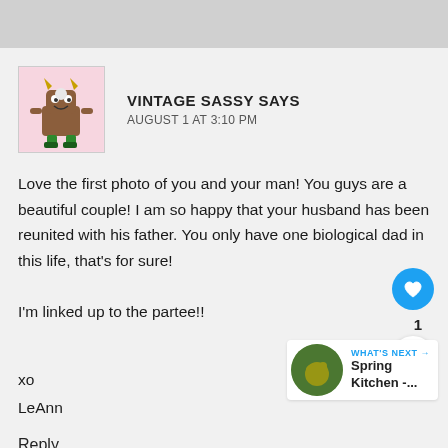[Figure (illustration): Avatar icon of a cartoon brown monster character with green boots and horns, on a pink background]
VINTAGE SASSY SAYS
AUGUST 1 AT 3:10 PM
Love the first photo of you and your man! You guys are a beautiful couple! I am so happy that your husband has been reunited with his father. You only have one biological dad in this life, that's for sure!

I'm linked up to the partee!!

xo
LeAnn
Reply